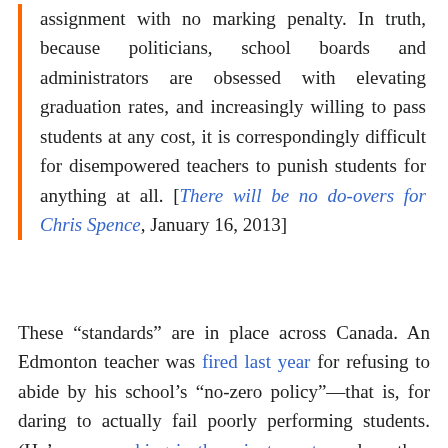assignment with no marking penalty. In truth, because politicians, school boards and administrators are obsessed with elevating graduation rates, and increasingly willing to pass students at any cost, it is correspondingly difficult for disempowered teachers to punish students for anything at all. [There will be no do-overs for Chris Spence, January 16, 2013]
These “standards” are in place across Canada. An Edmonton teacher was fired last year for refusing to abide by his school’s “no-zero policy”—that is, for daring to actually fail poorly performing students. (He’s now working in the private sector, where they appreciate him.)
Also, that teacher didn’t get the same generous